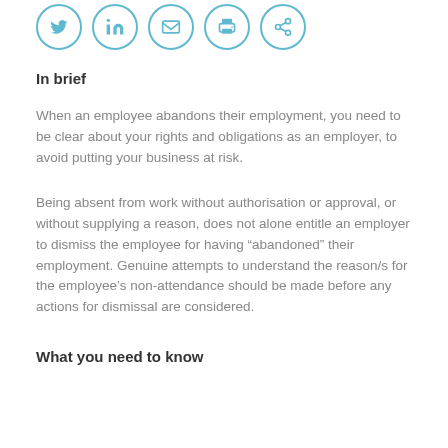[Figure (other): Row of five social/share icon circles: Twitter, LinkedIn, Email, Print, Share]
In brief
When an employee abandons their employment, you need to be clear about your rights and obligations as an employer, to avoid putting your business at risk.
Being absent from work without authorisation or approval, or without supplying a reason, does not alone entitle an employer to dismiss the employee for having “abandoned” their employment. Genuine attempts to understand the reason/s for the employee’s non-attendance should be made before any actions for dismissal are considered.
What you need to know